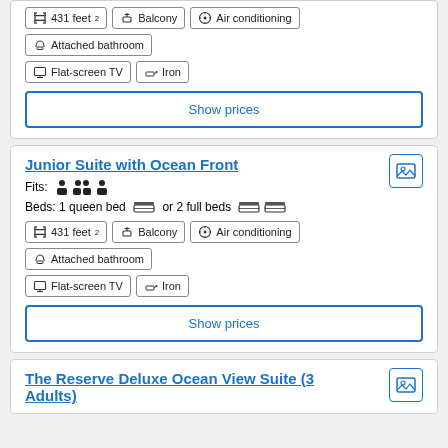431 feet² | Balcony | Air conditioning | Attached bathroom | Flat-screen TV | Iron
Show prices
Junior Suite with Ocean Front
Fits: (3 persons)
Beds: 1 queen bed or 2 full beds
431 feet² | Balcony | Air conditioning | Attached bathroom | Flat-screen TV | Iron
Show prices
The Reserve Deluxe Ocean View Suite (3 Adults)